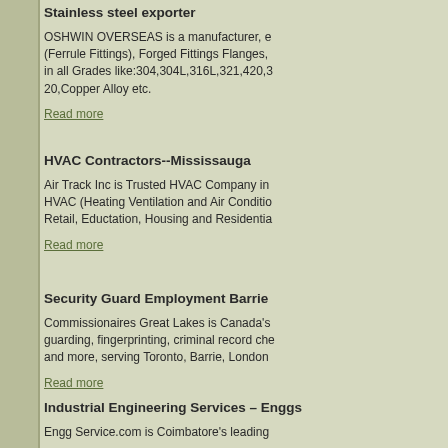Stainless steel exporter
OSHWIN OVERSEAS is a manufacturer, e (Ferrule Fittings), Forged Fittings Flanges, in all Grades like:304,304L,316L,321,420,3 20,Copper Alloy etc.
Read more
HVAC Contractors--Mississauga
Air Track Inc is Trusted HVAC Company in HVAC (Heating Ventilation and Air Conditio Retail, Eductation, Housing and Residentia
Read more
Security Guard Employment Barrie
Commissionaires Great Lakes is Canada's guarding, fingerprinting, criminal record che and more, serving Toronto, Barrie, London
Read more
Industrial Engineering Services – Enggs
Engg Service.com is Coimbatore's leading